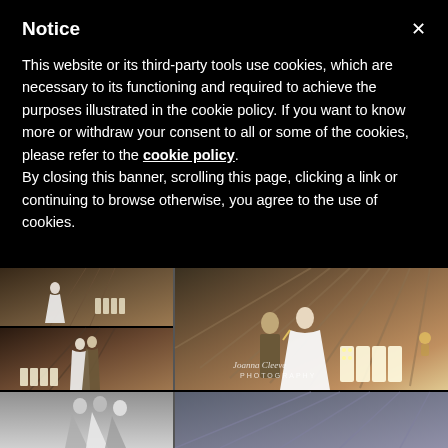Notice
This website or its third-party tools use cookies, which are necessary to its functioning and required to achieve the purposes illustrated in the cookie policy. If you want to know more or withdraw your consent to all or some of the cookies, please refer to the cookie policy.
By closing this banner, scrolling this page, clicking a link or continuing to browse otherwise, you agree to the use of cookies.
[Figure (photo): Wedding photography collage showing couples dancing at a reception venue with 'LOVE' illuminated letter decorations. Multiple photos arranged in a grid: top-left shows a bride near LOVE letters, middle-left shows couple embracing, large right photo shows couple posing with LOVE letters, bottom row shows black-and-white and color reception photos. Watermark reads 'Joanna Cleeve Photography'.]